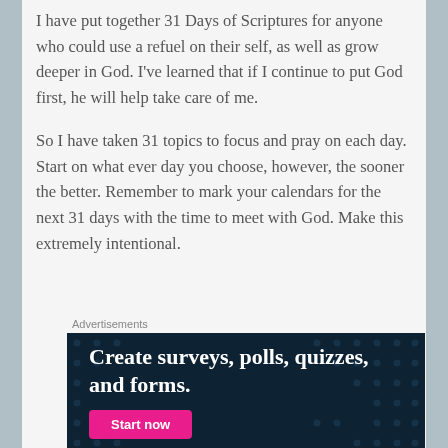I have put together 31 Days of Scriptures for anyone who could use a refuel on their self, as well as grow deeper in God. I've learned that if I continue to put God first, he will help take care of me.
So I have taken 31 topics to focus and pray on each day. Start on what ever day you choose, however, the sooner the better. Remember to mark your calendars for the next 31 days with the time to meet with God. Make this extremely intentional.
Advertisements
[Figure (infographic): Advertisement banner with dark navy background and dot pattern. White bold serif text reads 'Create surveys, polls, quizzes, and forms.' A pink/magenta button at bottom left reads 'Start now'.]